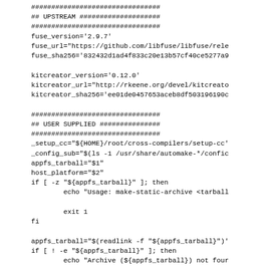################################
## UPSTREAM ####################
################################
fuse_version='2.9.7'
fuse_url="https://github.com/libfuse/libfuse/rele
fuse_sha256='832432d1ad4f833c20e13b57cf40ce5277a9

kitcreator_version='0.12.0'
kitcreator_url="http://rkeene.org/devel/kitcreato
kitcreator_sha256='ee01de0457653aceb8df503196190c

################################
## USER SUPPLIED ###############
################################
_setup_cc="${HOME}/root/cross-compilers/setup-cc'
_config_sub="$(ls -1 /usr/share/automake-*/confic
appfs_tarball="$1"
host_platform="$2"
if [ -z "${appfs_tarball}" ]; then
        echo "Usage: make-static-archive <tarball

        exit 1
fi

appfs_tarball="$(readlink -f "${appfs_tarball}")'  
if [ ! -e "${appfs_tarball}" ]; then
        echo "Archive (${appfs_tarball}) not four

        exit 1
fi

################################
## HELPERS #####################